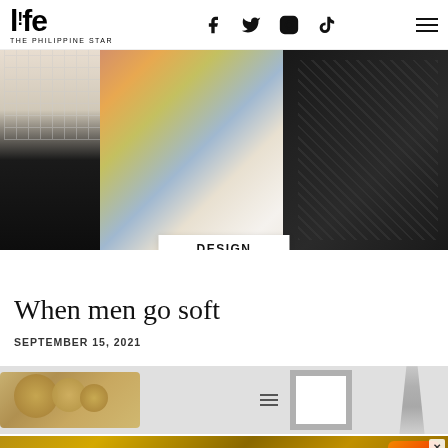l!fe THE PHILIPPINE STAR
[Figure (photo): Three fashion models showing outfits: left figure in floral/grid print with black flared pants, center figure in colorful floral top with white pleated skirt, right figure in dark floral outfit with embellishments. Light green background.]
DESIGN
When men go soft
SEPTEMBER 15, 2021
[Figure (photo): Partial product lifestyle photo showing woven circular objects on left, a framed mirror/panel in center, and a conical pendant light on right, against a light grey background.]
[Figure (photo): Advertisement banner: Become a master of shooter! DOWNLOAD NOW button on orange background with game imagery.]